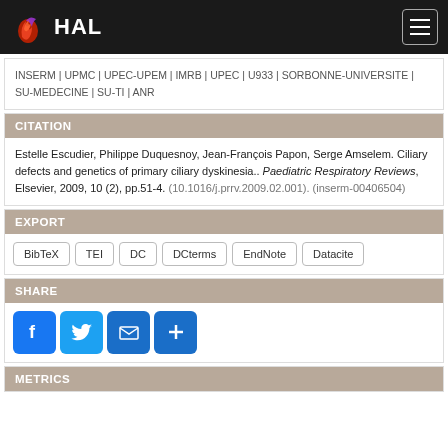HAL
INSERM | UPMC | UPEC-UPEM | IMRB | UPEC | U933 | SORBONNE-UNIVERSITE | SU-MEDECINE | SU-TI | ANR
CITATION
Estelle Escudier, Philippe Duquesnoy, Jean-François Papon, Serge Amselem. Ciliary defects and genetics of primary ciliary dyskinesia.. Paediatric Respiratory Reviews, Elsevier, 2009, 10 (2), pp.51-4. (10.1016/j.prrv.2009.02.001). (inserm-00406504)
EXPORT
BibTeX
TEI
DC
DCterms
EndNote
Datacite
SHARE
[Figure (infographic): Social share icons: Facebook (blue), Twitter (blue), Email (blue), Add/Plus (blue)]
METRICS